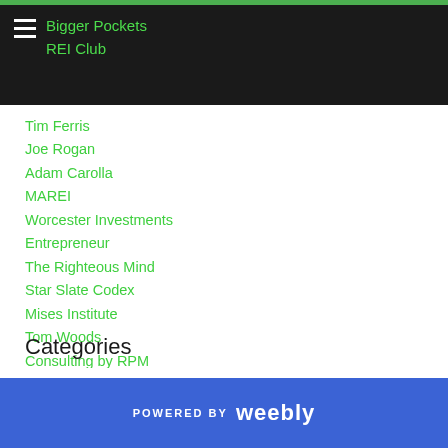Bigger Pockets
REI Club
Tim Ferris
Joe Rogan
Adam Carolla
MAREI
Worcester Investments
Entrepreneur
The Righteous Mind
Star Slate Codex
Mises Institute
Tom Woods
Consulting by RPM
Swift Economics
Categories
POWERED BY weebly